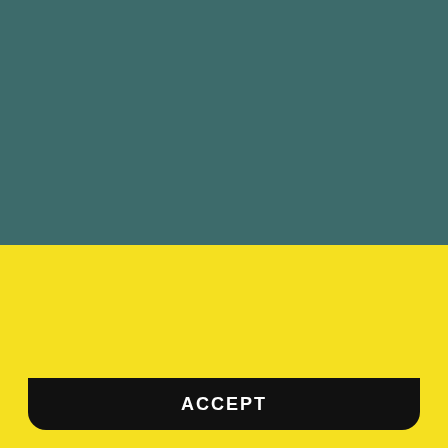[Figure (illustration): Dark teal/green colored background rectangle occupying the top half of the page]
Subscribe to our weekly newsletter for
[Figure (logo): IT4Africa logo showing outline of Africa continent with text inside]
This website uses cookies to ensure you get the best experience on our website.
ACCEPT